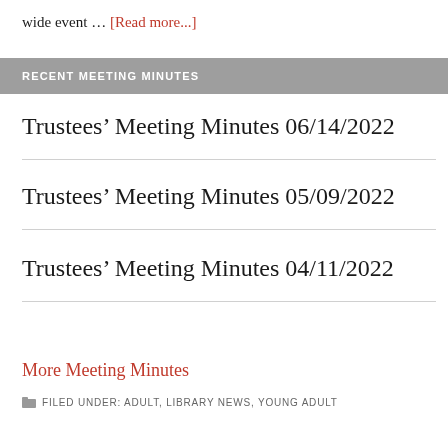wide event … [Read more...]
RECENT MEETING MINUTES
Trustees' Meeting Minutes 06/14/2022
Trustees' Meeting Minutes 05/09/2022
Trustees' Meeting Minutes 04/11/2022
More Meeting Minutes
FILED UNDER: ADULT, LIBRARY NEWS, YOUNG ADULT